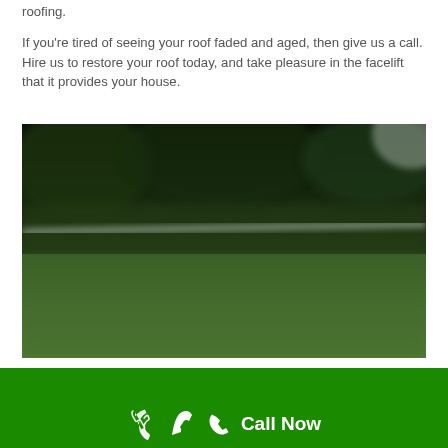roofing.
If you're tired of seeing your roof faded and aged, then give us a call. Hire us to restore your roof today, and take pleasure in the facelift that it provides your house.
[Figure (photo): A close-up photograph of a dark green flat or low-pitched roof surface with a white ridge line or edge trim visible across the middle, with dark trees and sky in the background.]
Call Now